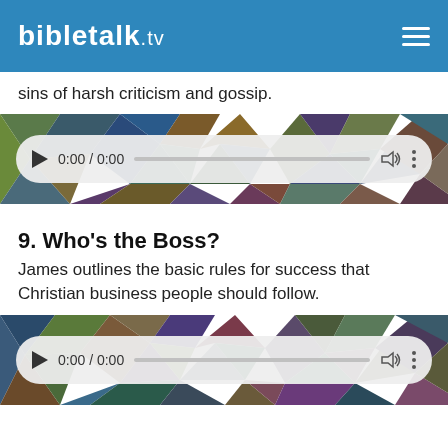BibleTalk.TV
sins of harsh criticism and gossip.
[Figure (screenshot): Audio player with geometric polygon background, showing 0:00 / 0:00 time display, play button, progress bar, volume and more icons.]
9. Who's the Boss?
James outlines the basic rules for success that Christian business people should follow.
[Figure (screenshot): Audio player with geometric polygon background, showing 0:00 / 0:00 time display, play button, progress bar, volume and more icons.]